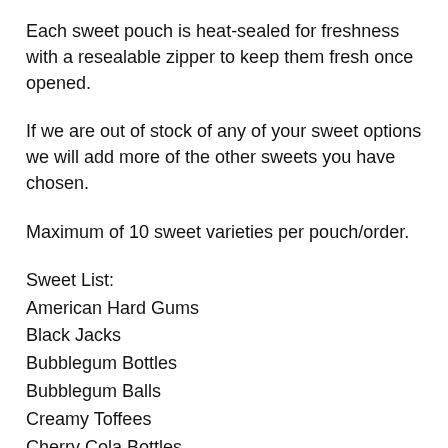Each sweet pouch is heat-sealed for freshness with a resealable zipper to keep them fresh once opened.
If we are out of stock of any of your sweet options we will add more of the other sweets you have chosen.
Maximum of 10 sweet varieties per pouch/order.
Sweet List:
American Hard Gums
Black Jacks
Bubblegum Bottles
Bubblegum Balls
Creamy Toffees
Cherry Cola Bottles
Chocolate Coins
Chocolate Eclairs
Cola Bottles